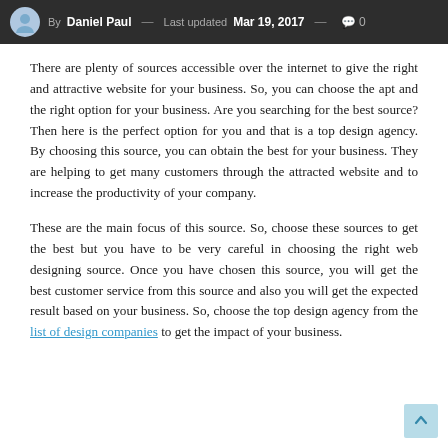By Daniel Paul — Last updated Mar 19, 2017 — 0 comments
There are plenty of sources accessible over the internet to give the right and attractive website for your business. So, you can choose the apt and the right option for your business. Are you searching for the best source? Then here is the perfect option for you and that is a top design agency. By choosing this source, you can obtain the best for your business. They are helping to get many customers through the attracted website and to increase the productivity of your company.
These are the main focus of this source. So, choose these sources to get the best but you have to be very careful in choosing the right web designing source. Once you have chosen this source, you will get the best customer service from this source and also you will get the expected result based on your business. So, choose the top design agency from the list of design companies to get the impact of your business.